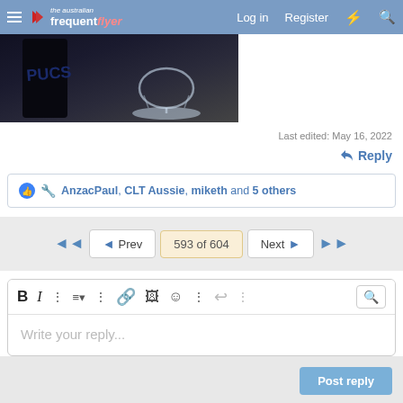The Australian Frequent Flyer — Log in  Register
[Figure (photo): Partial view of a dark wine/spirits bottle and an empty wine glass on a dark background]
Last edited: May 16, 2022
↩ Reply
AnzacPaul, CLT Aussie, miketh and 5 others
◄◄  ◄ Prev  593 of 604  Next ►  ►►
Write your reply...